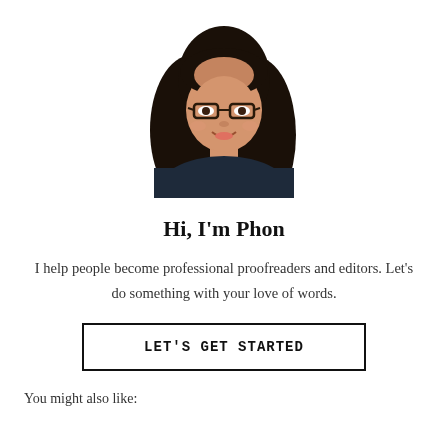[Figure (photo): Portrait photo of a woman with long black hair and glasses, wearing a dark top, smiling, on a white background]
Hi, I'm Phon
I help people become professional proofreaders and editors. Let's do something with your love of words.
LET'S GET STARTED
You might also like: